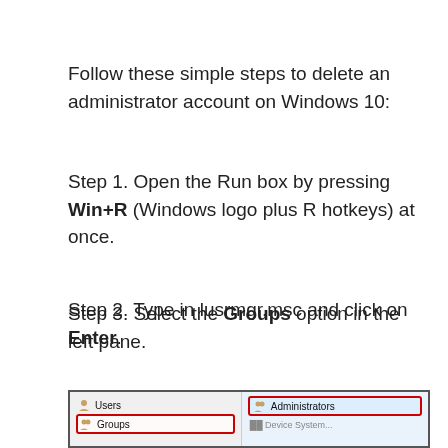Follow these simple steps to delete an administrator account on Windows 10:
Step 1. Open the Run box by pressing Win+R (Windows logo plus R hotkeys) at once.
Step 2. Type in lusrmgr.msc and click on Enter.
Step 3. Select the Groups option in the left pane.
[Figure (screenshot): Screenshot showing the Local Users and Groups window with Users and Groups items in a left pane (Groups highlighted with red border), and Administrators item highlighted with red border in the right pane.]